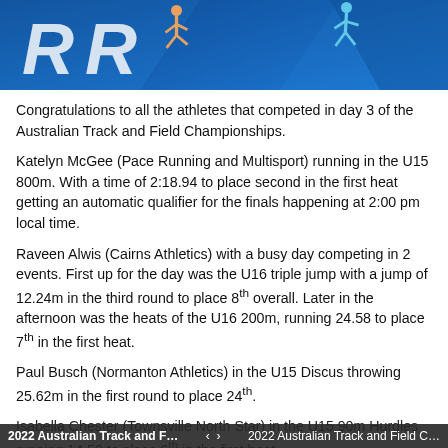[Figure (illustration): Blue banner with athletic figures running, large white stylized 'R' letters visible, Australian Track and Field Championships branding]
Congratulations to all the athletes that competed in day 3 of the Australian Track and Field Championships.
Katelyn McGee (Pace Running and Multisport) running in the U15 800m. With a time of 2:18.94 to place second in the first heat getting an automatic qualifier for the finals happening at 2:00 pm local time.
Raveen Alwis (Cairns Athletics) with a busy day competing in 2 events. First up for the day was the U16 triple jump with a jump of 12.24m in the third round to place 8th overall. Later in the afternoon was the heats of the U16 200m, running 24.58 to place 7th in the first heat.
Paul Busch (Normanton Athletics) in the U15 Discus throwing 25.62m in the first round to place 24th.
Isabella Chester (Townsville North Star) in the U15 90m Hurdles running 14.50 to place 6th in the first heat.
2022 Australian Track and F...    <    >    2022 Australian Track and Field C...